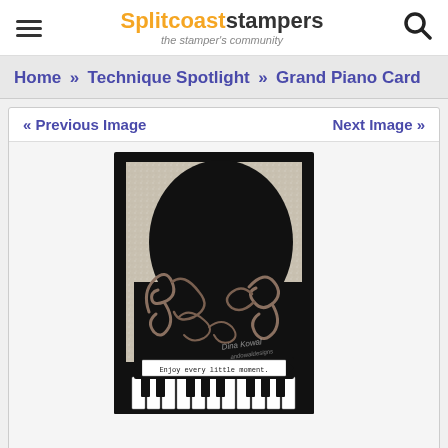Splitcoaststampers – the stamper's community
Home » Technique Spotlight » Grand Piano Card
« Previous Image    Next Image »
[Figure (photo): A handmade grand piano shaped card in black with decorative silver/copper scroll flourishes, a black oval lid shape, a silver glittery background panel, a ticket banner reading 'Enjoy every little moment.' in typewriter font, and a piano keyboard strip at the bottom with black and white keys. Watermark reads 'Dina Kowal andowaldesigns'.]